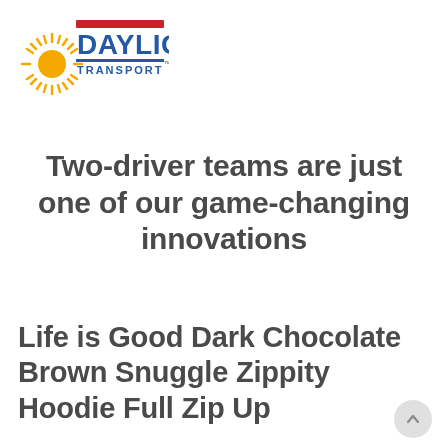[Figure (logo): Daylight Transport logo with sun rays graphic on the left and 'DAYLIGHT' in bold blue text with red stripe above and 'TRANSPORT' in blue below on a white background]
Two-driver teams are just one of our game-changing innovations
Life is Good Dark Chocolate Brown Snuggle Zippity Hoodie Full Zip Up